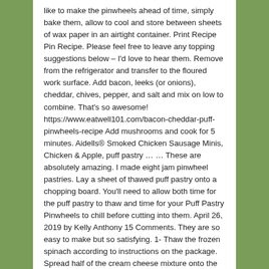like to make the pinwheels ahead of time, simply bake them, allow to cool and store between sheets of wax paper in an airtight container. Print Recipe Pin Recipe. Please feel free to leave any topping suggestions below – I'd love to hear them. Remove from the refrigerator and transfer to the floured work surface. Add bacon, leeks (or onions), cheddar, chives, pepper, and salt and mix on low to combine. That's so awesome! https://www.eatwell101.com/bacon-cheddar-puff-pinwheels-recipe Add mushrooms and cook for 5 minutes. Aidells® Smoked Chicken Sausage Minis, Chicken & Apple, puff pastry … … These are absolutely amazing. I made eight jam pinwheel pastries. Lay a sheet of thawed puff pastry onto a chopping board. You'll need to allow both time for the puff pastry to thaw and time for your Puff Pastry Pinwheels to chill before cutting into them. April 26, 2019 by Kelly Anthony 15 Comments. They are so easy to make but so satisfying. 1- Thaw the frozen spinach according to instructions on the package. Spread half of the cream cheese mixture onto the pastry sheet using an offset spatula or a knife, leaving an empty space about 1"